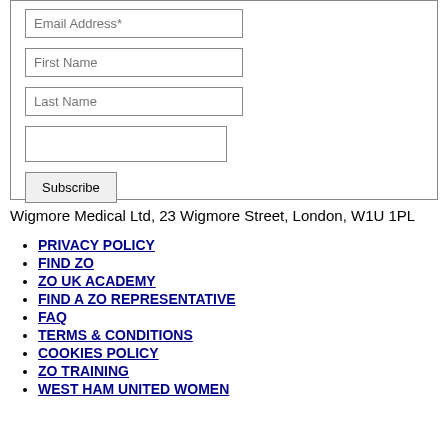[Figure (other): Web form with fields for Email Address*, First Name, Last Name, an empty field, and a Subscribe button]
Wigmore Medical Ltd, 23 Wigmore Street, London, W1U 1PL
PRIVACY POLICY
FIND ZO
ZO UK ACADEMY
FIND A ZO REPRESENTATIVE
FAQ
TERMS & CONDITIONS
COOKIES POLICY
ZO TRAINING
WEST HAM UNITED WOMEN